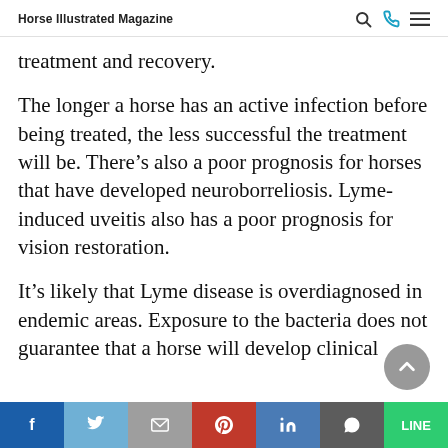Horse Illustrated Magazine
treatment and recovery.
The longer a horse has an active infection before being treated, the less successful the treatment will be. There’s also a poor prognosis for horses that have developed neuroborreliosis. Lyme-induced uveitis also has a poor prognosis for vision restoration.
It’s likely that Lyme disease is overdiagnosed in endemic areas. Exposure to the bacteria does not guarantee that a horse will develop clinical